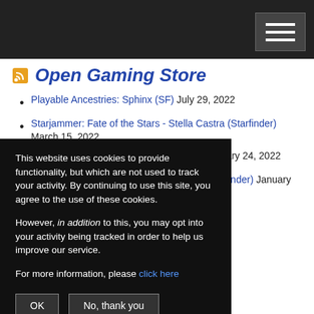Open Gaming Store
Playable Ancestries: Sphinx (SF) July 29, 2022
Starjammer: Fate of the Stars - Stella Castra (Starfinder) March 15, 2022
Week 48: Guide Companions (SFRPG) January 24, 2022
Week 41: Branded with an Unholy Sign (Starfinder) January 23, 2022
…s Without Strings January 20, 2022
This website uses cookies to provide functionality, but which are not used to track your activity. By continuing to use this site, you agree to the use of these cookies.

However, in addition to this, you may opt into your activity being tracked in order to help us improve our service.

For more information, please click here